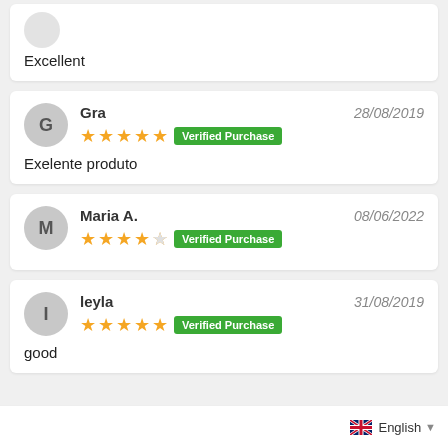Excellent
Gra — 28/08/2019 — 5 stars — Verified Purchase
Exelente produto
Maria A. — 08/06/2022 — 4 stars — Verified Purchase
leyla — 31/08/2019 — 5 stars — Verified Purchase
good
English